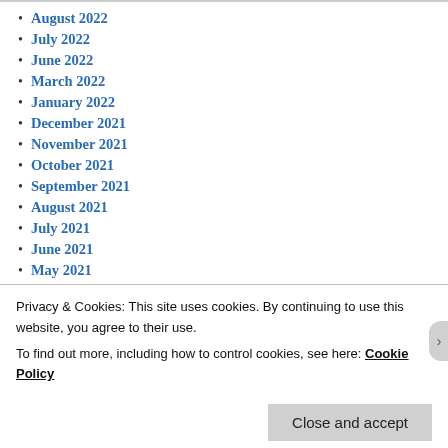August 2022
July 2022
June 2022
March 2022
January 2022
December 2021
November 2021
October 2021
September 2021
August 2021
July 2021
June 2021
May 2021
March 2021
February 2021
Privacy & Cookies: This site uses cookies. By continuing to use this website, you agree to their use.
To find out more, including how to control cookies, see here: Cookie Policy
Close and accept